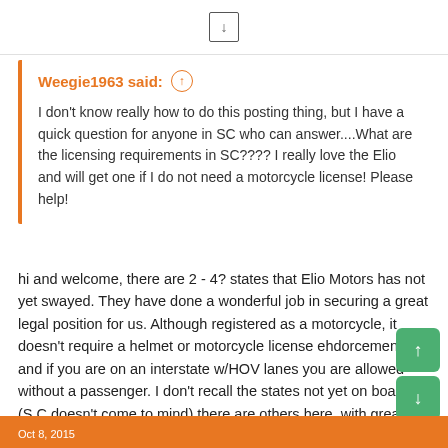[Figure (other): Download/scroll button icon in a box at top center of page]
Weegie1963 said: ↑
I don't know really how to do this posting thing, but I have a quick question for anyone in SC who can answer....What are the licensing requirements in SC???? I really love the Elio and will get one if I do not need a motorcycle license! Please help!
hi and welcome, there are 2 - 4? states that Elio Motors has not yet swayed. They have done a wonderful job in securing a great legal position for us. Although registered as a motorcycle, it doesn't require a helmet or motorcycle license ehdorcement, and if you are on an interstate w/HOV lanes you are allowed without a passenger. I don't recall the states not yet on board, (S.C doesn't come to mind) there are others here, with greater gray mass, who will let us know the latest.
Oct 8, 2015